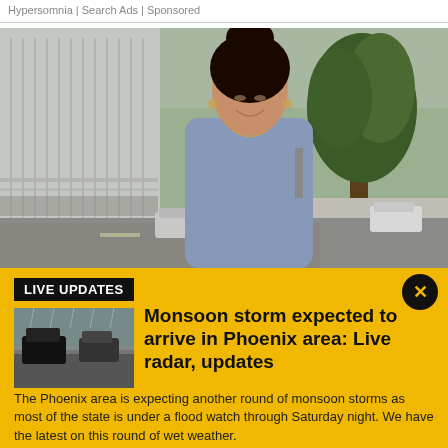Hypersomnia | Search Ads | Sponsored
[Figure (photo): Woman smiling outdoors in front of a building with a lattice fence and street trees, wearing a grey short-sleeve top with hair in a bun]
[Figure (infographic): Yellow live updates notification banner with black LIVE UPDATES label, thumbnail of rainy street with cars, headline text, and close button]
Monsoon storm expected to arrive in Phoenix area: Live radar, updates
The Phoenix area is expecting another round of monsoon storms as most of the state is under a flood watch through Saturday night. We have the latest on this round of wet weather.